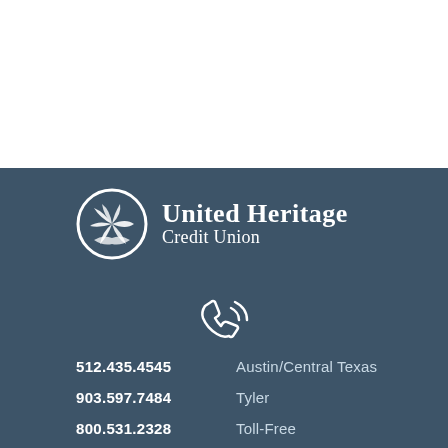[Figure (logo): United Heritage Credit Union logo — circular emblem with stylized bird/wing design in white on dark teal background, beside bold text 'United Heritage Credit Union']
[Figure (illustration): White phone/call icon with signal waves]
512.435.4545   Austin/Central Texas
903.597.7484   Tyler
800.531.2328   Toll-Free